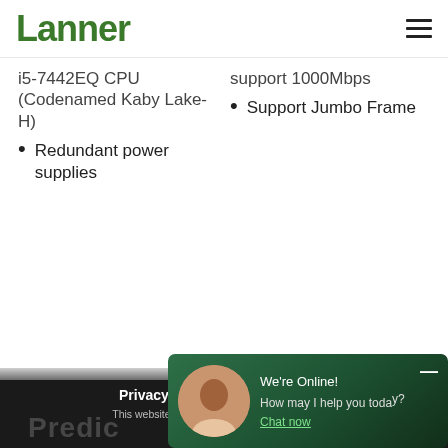Lanner
i5-7442EQ CPU (Codenamed Kaby Lake-H)
Redundant power supplies
support 1000Mbps
Support Jumbo Frame
Privacy and Cookie Information
This website uses cookies to information about t
[Figure (photo): Customer support representative chat widget overlay with green background, showing agent photo and 'We're Online! How may I help you today?' text with 'Chat now' link]
We're Online! How may I help you toda Chat now